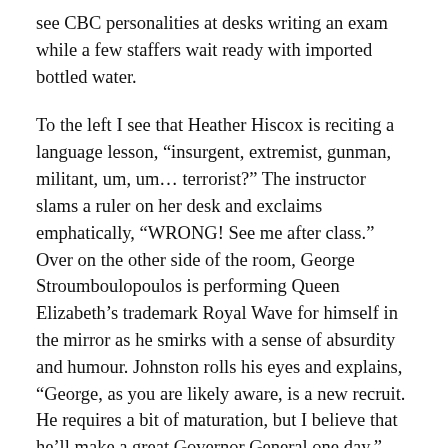see CBC personalities at desks writing an exam while a few staffers wait ready with imported bottled water.
To the left I see that Heather Hiscox is reciting a language lesson, “insurgent, extremist, gunman, militant, um, um… terrorist?” The instructor slams a ruler on her desk and exclaims emphatically, “WRONG! See me after class.” Over on the other side of the room, George Stroumboulopoulos is performing Queen Elizabeth’s trademark Royal Wave for himself in the mirror as he smirks with a sense of absurdity and humour. Johnston rolls his eyes and explains, “George, as you are likely aware, is a new recruit. He requires a bit of maturation, but I believe that he’ll make a great Governor General one day.”
As the tour of the facility ends and as we’re walking